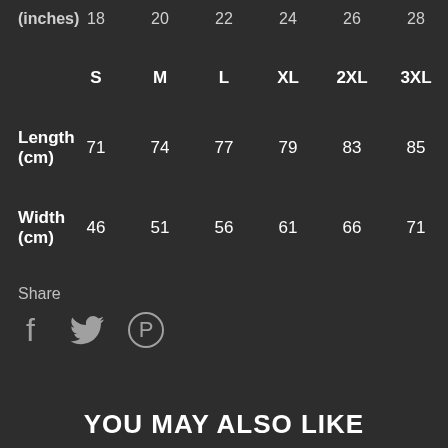|  | S | M | L | XL | 2XL | 3XL |
| --- | --- | --- | --- | --- | --- | --- |
| (inches) | 18 | 20 | 22 | 24 | 26 | 28 |
| Length (cm) | 71 | 74 | 77 | 79 | 83 | 85 |
| Width (cm) | 46 | 51 | 56 | 61 | 66 | 71 |
Share
[Figure (illustration): Social share icons: Facebook (f), Twitter (bird), Pinterest (P circle)]
YOU MAY ALSO LIKE